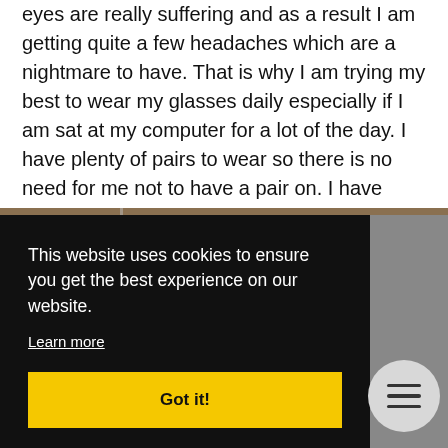eyes are really suffering and as a result I am getting quite a few headaches which are a nightmare to have. That is why I am trying my best to wear my glasses daily especially if I am sat at my computer for a lot of the day. I have plenty of pairs to wear so there is no need for me not to have a pair on. I have been doing well with wearing them daily at the moment and I am determined to carry this and cut down on the amount of headaches I have.
[Figure (photo): Partial photograph visible behind cookie consent overlay, showing a brownish/earthy outdoor scene]
This website uses cookies to ensure you get the best experience on our website.
Learn more
Got it!
LEARN MORE   OK